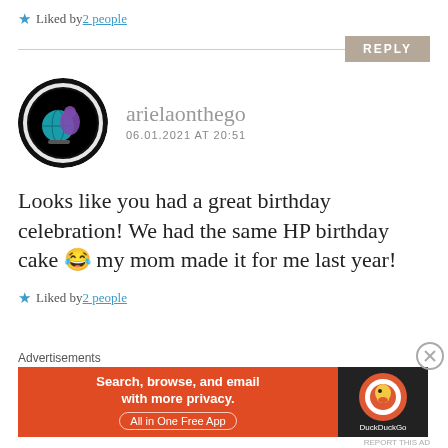Liked by 2 people
REPLY
[Figure (photo): Round avatar with black background showing a globe and purple figure, white glowing ring border]
arielaonthego
06.01.2021 AT 20:51
Looks like you had a great birthday celebration! We had the same HP birthday cake 😂 my mom made it for me last year!
Liked by 2 people
Advertisements
[Figure (screenshot): DuckDuckGo advertisement banner: Search, browse, and email with more privacy. All in One Free App]